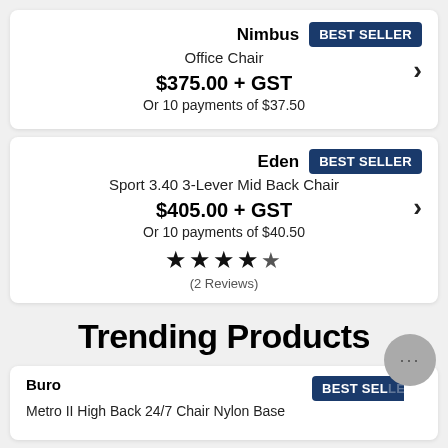[Figure (screenshot): Product card for Nimbus Office Chair with BEST SELLER badge, price $375.00 + GST, and payment option of 10 payments of $37.50]
[Figure (screenshot): Product card for Eden Sport 3.40 3-Lever Mid Back Chair with BEST SELLER badge, price $405.00 + GST, 10 payments of $40.50, and 4.5 star rating with 2 Reviews]
Trending Products
[Figure (screenshot): Partial product card for Buro Metro II High Back 24/7 Chair Nylon Base with BEST SELLER badge (partially visible)]